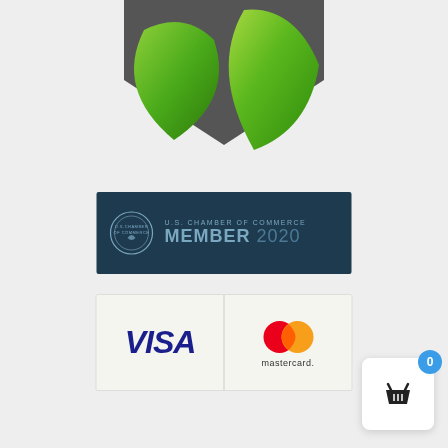[Figure (logo): Green plant/leaf logo with two green leaves emerging from a dark grey shape, on a light grey background]
[Figure (logo): U.S. Chamber of Commerce Member 2020 badge on dark navy/teal background with circular seal]
[Figure (logo): Payment methods badge showing VISA and Mastercard logos side by side on light background]
[Figure (infographic): Shopping cart widget with blue badge showing 0, white rounded square background, bottom right corner]